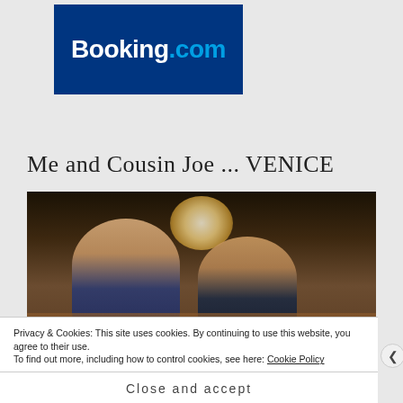[Figure (logo): Booking.com logo — white bold text on dark blue background]
Me and Cousin Joe ... VENICE
[Figure (photo): Two men sitting together in what appears to be a restaurant or bar interior in Venice. The man on the left has curly hair and is wearing a dark jacket. The man on the right is wearing sunglasses. Wooden paneling and a mirror are visible in the background.]
Privacy & Cookies: This site uses cookies. By continuing to use this website, you agree to their use.
To find out more, including how to control cookies, see here: Cookie Policy
Close and accept